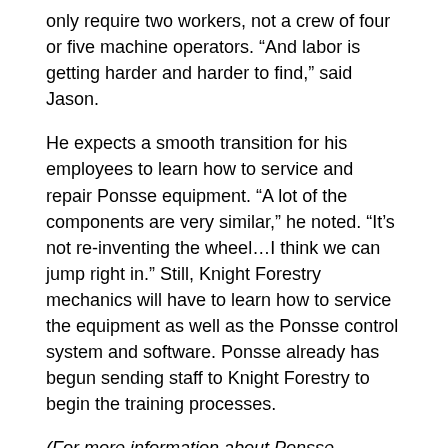only require two workers, not a crew of four or five machine operators. “And labor is getting harder and harder to find,” said Jason.
He expects a smooth transition for his employees to learn how to service and repair Ponsse equipment. “A lot of the components are very similar,” he noted. “It’s not re-inventing the wheel…I think we can jump right in.” Still, Knight Forestry mechanics will have to learn how to service the equipment as well as the Ponsse control system and software. Ponsse already has begun sending staff to Knight Forestry to begin the training processes.
(For more information about Ponsse equipment, visit www.ponsse.com or call the company’s North American headquarters in Rhinelander, Wisconsin, at (715) 369-4833.)